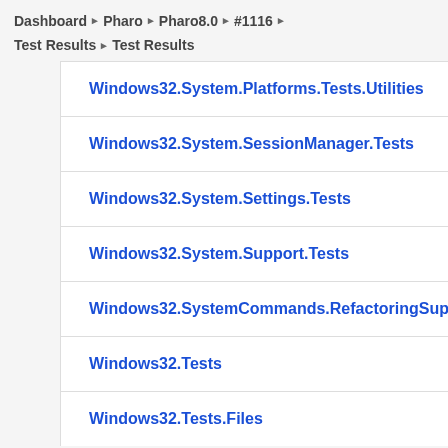Dashboard ▶ Pharo ▶ Pharo8.0 ▶ #1116 ▶ Test Results ▶ Test Results
Windows32.System.Platforms.Tests.Utilities
Windows32.System.SessionManager.Tests
Windows32.System.Settings.Tests
Windows32.System.Support.Tests
Windows32.SystemCommands.RefactoringSupport.Test
Windows32.Tests
Windows32.Tests.Files